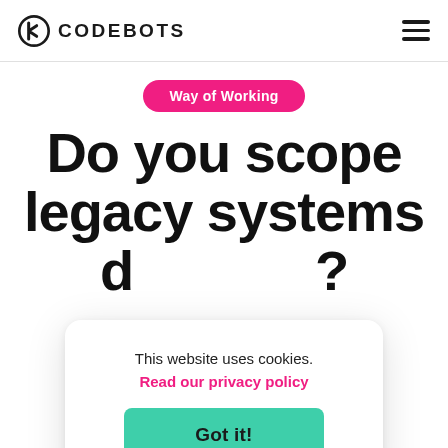CODEBOTS
Way of Working
Do you scope legacy systems different?
This website uses cookies. Read our privacy policy
Got it!
Written by Tessa Mylonas